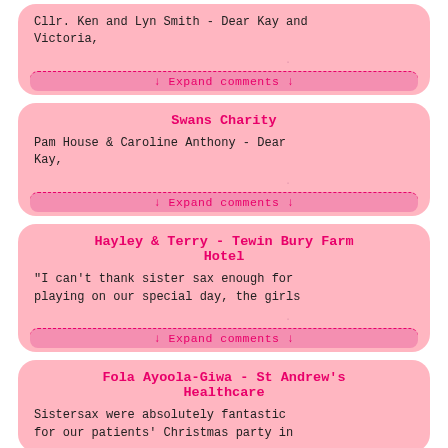Cllr. Ken and Lyn Smith - Dear Kay and Victoria,
↓ Expand comments ↓
Swans Charity
Pam House & Caroline Anthony - Dear Kay,
↓ Expand comments ↓
Hayley & Terry - Tewin Bury Farm Hotel
'I can't thank sister sax enough for playing on our special day, the girls
↓ Expand comments ↓
Fola Ayoola-Giwa - St Andrew's Healthcare
Sistersax were absolutely fantastic for our patients' Christmas party in